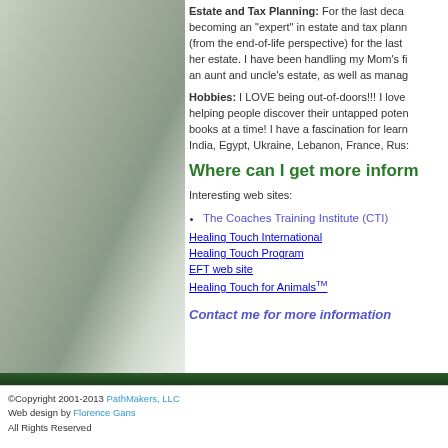Estate and Tax Planning: For the last decade, becoming an "expert" in estate and tax planning (from the end-of-life perspective) for the last her estate. I have been handling my Mom's fi an aunt and uncle's estate, as well as manag
Hobbies: I LOVE being out-of-doors!!! I love helping people discover their untapped poten books at a time! I have a fascination for learn India, Egypt, Ukraine, Lebanon, France, Rus:
Where can I get more inform
Interesting web sites:
The Coaches Training Institute (CTI)
Healing Touch International
Healing Touch Program
EFT web site
Healing Touch for Animals™
Contact me for more information
©Copyright 2001-2013 PathMakers, LLC Web design by Florence Gans All Rights Reserved